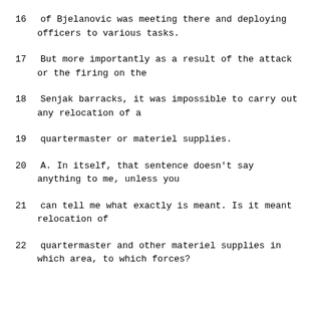16      of Bjelanovic was meeting there and deploying officers to various tasks.
17      But more importantly as a result of the attack or the firing on the
18      Senjak barracks, it was impossible to carry out any relocation of a
19      quartermaster or materiel supplies.
20      A.   In itself, that sentence doesn't say anything to me, unless you
21      can tell me what exactly is meant.  Is it meant relocation of
22      quartermaster and other materiel supplies in which area, to which forces?